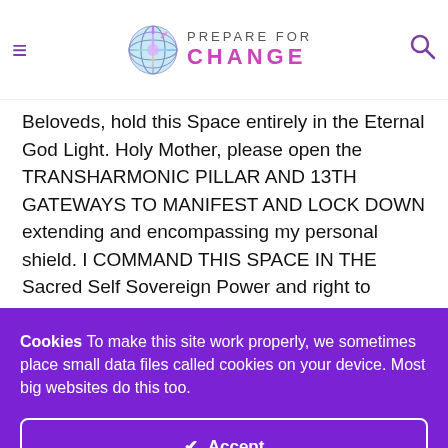Prepare For Change
Beloveds, hold this Space entirely in the Eternal God Light. Holy Mother, please open the TRANSHARMONIC PILLAR AND 13TH GATEWAYS TO MANIFEST AND LOCK DOWN extending and encompassing my personal shield. I COMMAND THIS SPACE IN THE Sacred Self Sovereign Power and right to dedicate and claim this space for the Eternal God Spirit in Christ. KA RA YA SA TA HA LA As you
Cookies To make this site work properly, we sometimes place small data files called cookies on your device. Most big websites do this too.
✔ Accept
Change Settings ⚙